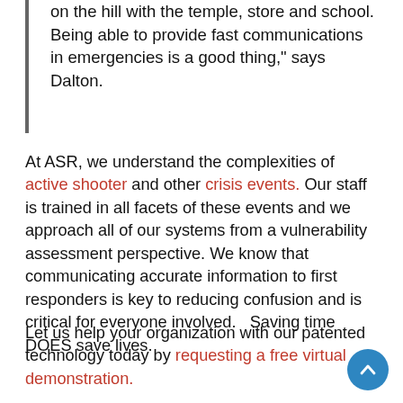on the hill with the temple, store and school.  Being able to provide fast communications in emergencies is a good thing," says Dalton.
At ASR, we understand the complexities of active shooter and other crisis events.  Our staff is trained in all facets of these events and we approach all of our systems from a vulnerability assessment perspective.  We know that communicating accurate information to first responders is key to reducing confusion and is critical for everyone involved.   Saving time DOES save lives.
Let us help your organization with our patented technology today by requesting a free virtual demonstration.